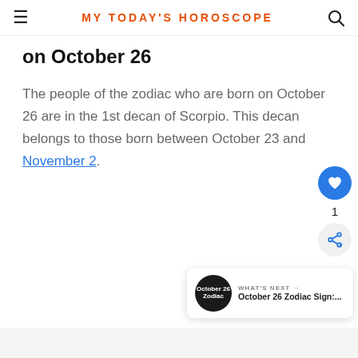MY TODAY'S HOROSCOPE
on October 26
The people of the zodiac who are born on October 26 are in the 1st decan of Scorpio. This decan belongs to those born between October 23 and November 2.
[Figure (other): Floating heart/like button showing count of 1, and share button]
[Figure (other): What's Next panel showing October 26 Zodiac Sign article thumbnail]